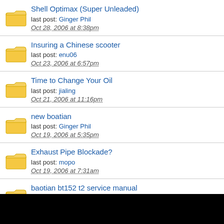Shell Optimax (Super Unleaded)
last post: Ginger Phil
Oct 28, 2006 at 8:38pm
Insuring a Chinese scooter
last post: enu06
Oct 23, 2006 at 6:57pm
Time to Change Your Oil
last post: jialing
Oct 21, 2006 at 11:16pm
new boatian
last post: Ginger Phil
Oct 19, 2006 at 5:35pm
Exhaust Pipe Blockade?
last post: mopo
Oct 19, 2006 at 7:31am
baotian bt152 t2 service manual
last post: sofia
Oct 18, 2006 at 3:52pm
stanway spares